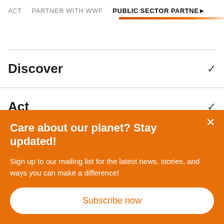ACT   PARTNER WITH WWF   PUBLIC SECTOR PARTNERS
Discover
Act
Latest
Care about our planet? Stay updated!
Sign up to our mailing list for the latest news, stories, and ways you can make a difference!
Subscribe now